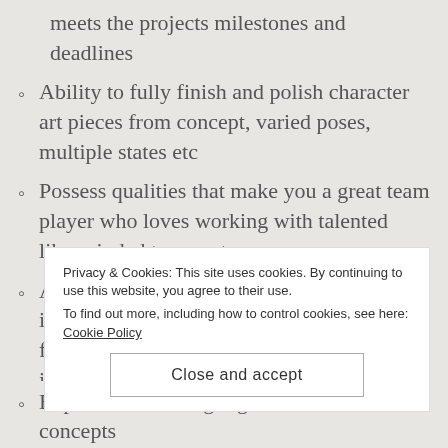meets the projects milestones and deadlines
Ability to fully finish and polish character art pieces from concept, varied poses, multiple states etc
Possess qualities that make you a great team player who loves working with talented like-minded teammates
Ability to work confidently and independently on art pieces with a keen eye for following detail and assignment instructions
Privacy & Cookies: This site uses cookies. By continuing to use this website, you agree to their use.
To find out more, including how to control cookies, see here: Cookie Policy
Experience creating digital character concepts